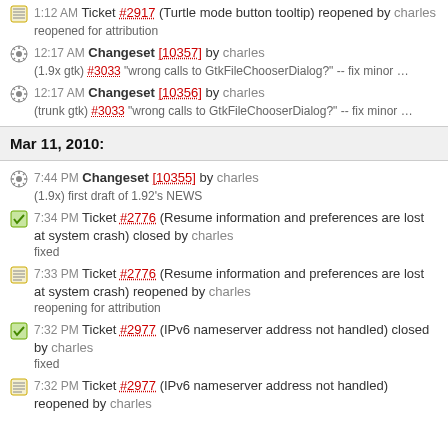1:12 AM Ticket #2917 (Turtle mode button tooltip) reopened by charles
reopened for attribution
12:17 AM Changeset [10357] by charles
(1.9x gtk) #3033 "wrong calls to GtkFileChooserDialog?" -- fix minor ...
12:17 AM Changeset [10356] by charles
(trunk gtk) #3033 "wrong calls to GtkFileChooserDialog?" -- fix minor ...
Mar 11, 2010:
7:44 PM Changeset [10355] by charles
(1.9x) first draft of 1.92's NEWS
7:34 PM Ticket #2776 (Resume information and preferences are lost at system crash) closed by charles
fixed
7:33 PM Ticket #2776 (Resume information and preferences are lost at system crash) reopened by charles
reopening for attribution
7:32 PM Ticket #2977 (IPv6 nameserver address not handled) closed by charles
fixed
7:32 PM Ticket #2977 (IPv6 nameserver address not handled) reopened by charles